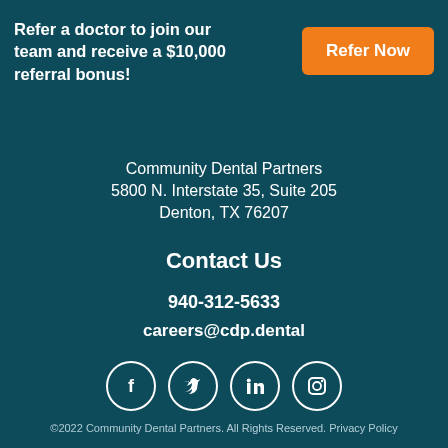Refer a doctor to join our team and receive a $10,000 referral bonus!
Refer Now
Community Dental Partners
5800 N. Interstate 35, Suite 205
Denton, TX 76207
Contact Us
940-312-5633
careers@cdp.dental
[Figure (illustration): Social media icons: Facebook, Twitter, LinkedIn, Instagram — white circles with icons on teal background]
©2022 Community Dental Partners. All Rights Reserved. Privacy Policy